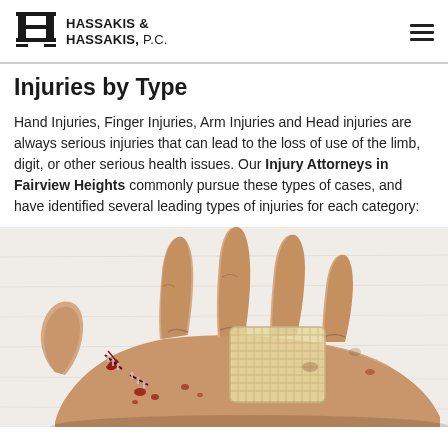HASSAKIS & HASSAKIS, P.C.
Injuries by Type
Hand Injuries, Finger Injuries, Arm Injuries and Head injuries are always serious injuries that can lead to the loss of use of the limb, digit, or other serious health issues. Our Injury Attorneys in Fairview Heights commonly pursue these types of cases, and have identified several leading types of injuries for each category:
[Figure (photo): Close-up photo of an injured human hand resting on a white towel, showing lacerations, blood, and a mesh medical bandage/dressing applied to the back of the hand.]